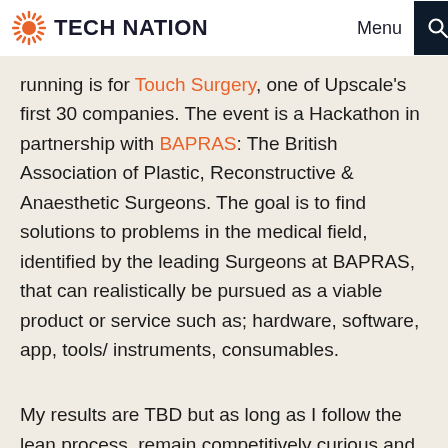TECH NATION   Menu
running is for Touch Surgery, one of Upscale's first 30 companies. The event is a Hackathon in partnership with BAPRAS: The British Association of Plastic, Reconstructive & Anaesthetic Surgeons. The goal is to find solutions to problems in the medical field, identified by the leading Surgeons at BAPRAS, that can realistically be pursued as a viable product or service such as; hardware, software, app, tools/ instruments, consumables.
My results are TBD but as long as I follow the lean process, remain competitively curious and stay on my toes ready for adjustments (based on results), I will have given myself the best chance for success.